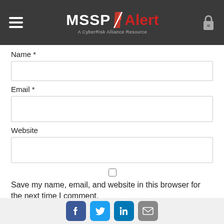MSSP Alert - A CyberRisk Alliance Resource
Name *
Email *
Website
Save my name, email, and website in this browser for the next time I comment.
Notify me of followup comments via e-mail. You can also subscribe without commenting.
Social share icons: Facebook, Twitter, LinkedIn, Email